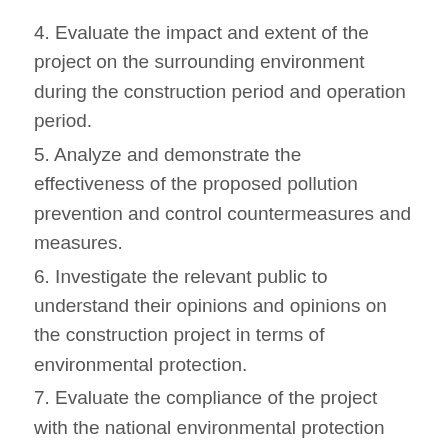4. Evaluate the impact and extent of the project on the surrounding environment during the construction period and operation period.
5. Analyze and demonstrate the effectiveness of the proposed pollution prevention and control countermeasures and measures.
6. Investigate the relevant public to understand their opinions and opinions on the construction project in terms of environmental protection.
7. Evaluate the compliance of the project with the national environmental protection laws, regulations and standards, and make a conclusion on the feasibility of the project construction in terms of environmental protection.
3. Methods and content of public participation
The construction unit has commissioned Hunan Jiuxiang